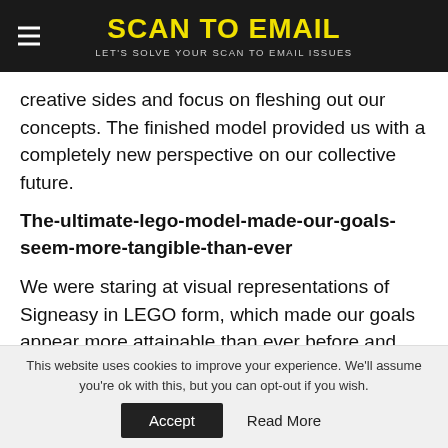SCAN TO EMAIL — LET'S SOLVE YOUR SCAN TO EMAIL ISSUES
creative sides and focus on fleshing out our concepts. The finished model provided us with a completely new perspective on our collective future.
The-ultimate-lego-model-made-our-goals-seem-more-tangible-than-ever
We were staring at visual representations of Signeasy in LEGO form, which made our goals appear more attainable than ever before and rekindled our desire to complete them all.
This website uses cookies to improve your experience. We'll assume you're ok with this, but you can opt-out if you wish.